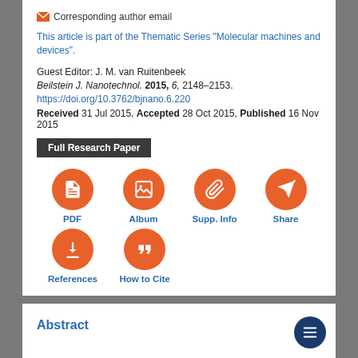✉ Corresponding author email
This article is part of the Thematic Series "Molecular machines and devices".
Guest Editor: J. M. van Ruitenbeek
Beilstein J. Nanotechnol. 2015, 6, 2148–2153.
https://doi.org/10.3762/bjnano.6.220
Received 31 Jul 2015, Accepted 28 Oct 2015, Published 16 Nov 2015
Full Research Paper
[Figure (infographic): Four orange circular icon buttons labeled PDF, Album, Supp. Info, Share with white icons]
[Figure (infographic): Two orange circular icon buttons labeled References, How to Cite with white icons]
Abstract